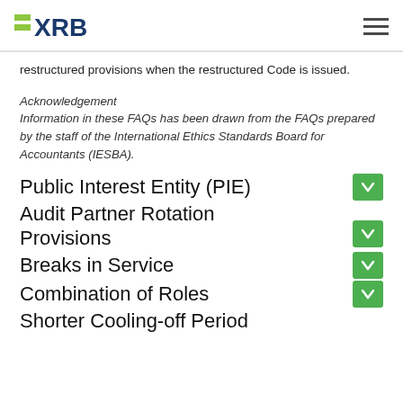XRB logo and navigation header
restructured provisions when the restructured Code is issued.
Acknowledgement
Information in these FAQs has been drawn from the FAQs prepared by the staff of the International Ethics Standards Board for Accountants (IESBA).
Public Interest Entity (PIE)
Audit Partner Rotation Provisions
Breaks in Service
Combination of Roles
Shorter Cooling-off Period